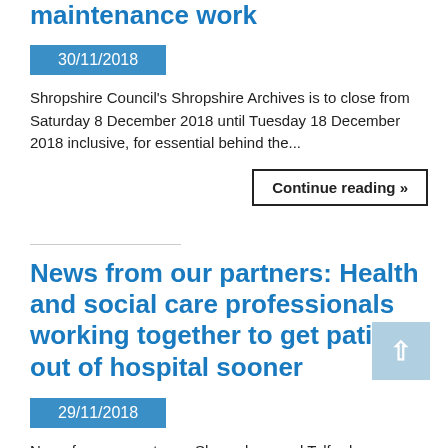maintenance work
30/11/2018
Shropshire Council's Shropshire Archives is to close from Saturday 8 December 2018 until Tuesday 18 December 2018 inclusive, for essential behind the...
Continue reading »
News from our partners: Health and social care professionals working together to get patients out of hospital sooner
29/11/2018
News from our partners: Shrewsbury and Telford